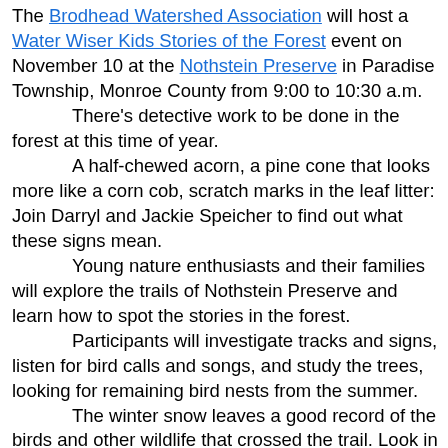The Brodhead Watershed Association will host a Water Wiser Kids Stories of the Forest event on November 10 at the Nothstein Preserve in Paradise Township, Monroe County from 9:00 to 10:30 a.m. There's detective work to be done in the forest at this time of year. A half-chewed acorn, a pine cone that looks more like a corn cob, scratch marks in the leaf litter: Join Darryl and Jackie Speicher to find out what these signs mean. Young nature enthusiasts and their families will explore the trails of Nothstein Preserve and learn how to spot the stories in the forest. Participants will investigate tracks and signs, listen for bird calls and songs, and study the trees, looking for remaining bird nests from the summer. The winter snow leaves a good record of the birds and other wildlife that crossed the trail. Look in the snow-- or mud-- for footprints that may help visitors piece together the animal community that uses the preserve for feeding and playing. With newly honed observation skills, participants will also find an increased appreciation of the winter forest. The program is for children and their families. Dress for the weather and come to look, listen and learn.